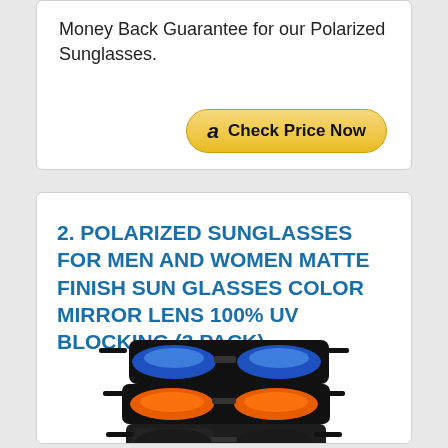Money Back Guarantee for our Polarized Sunglasses.
[Figure (other): Amazon 'Check Price Now' button with Amazon logo]
2. POLARIZED SUNGLASSES FOR MEN AND WOMEN MATTE FINISH SUN GLASSES COLOR MIRROR LENS 100% UV BLOCKING (3 PACK)
[Figure (photo): Three pairs of KALIYADI polarized sunglasses stacked: top pair has blue mirror lenses, middle pair has orange/red mirror lenses, bottom pair has black lenses, displayed on a black soft case]